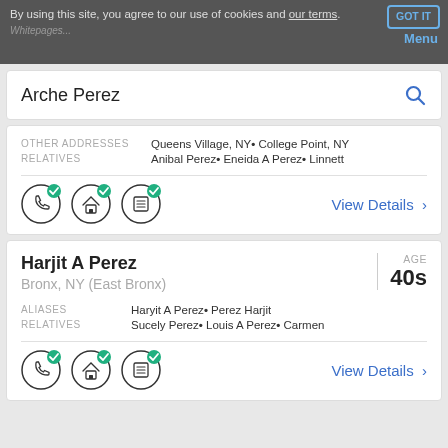By using this site, you agree to our use of cookies and our terms. GOT IT Menu
Arche Perez (search query)
OTHER ADDRESSES: Queens Village, NY• College Point, NY
RELATIVES: Anibal Perez• Eneida A Perez• Linnett
View Details >
Harjit A Perez
Bronx, NY (East Bronx)
AGE 40s
ALIASES: Haryit A Perez• Perez Harjit
RELATIVES: Sucely Perez• Louis A Perez• Carmen
View Details >